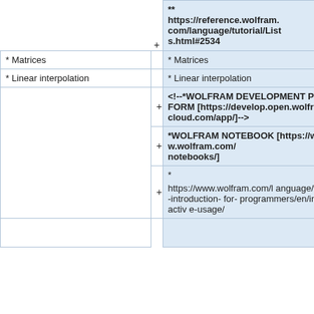** https://reference.wolfram.com/language/tutorial/Lists.html#2534
* Matrices
* Matrices
* Linear interpolation
* Linear interpolation
<!--*WOLFRAM DEVELOPMENT PLATFORM [https://develop.open.wolframcloud.com/app/]-->
*WOLFRAM NOTEBOOK [https://www.wolfram.com/notebooks/]
* https://www.wolfram.com/language/fast-introduction-for-programmers/en/interactive-usage/